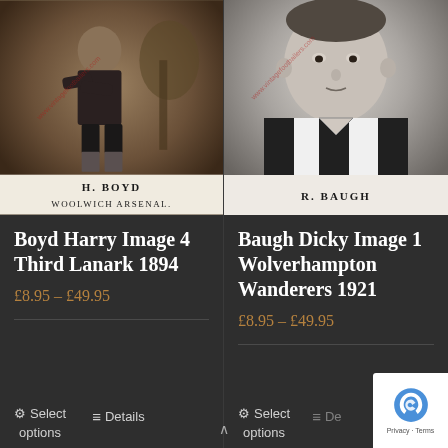[Figure (photo): Vintage sepia photograph of H. Boyd, Woolwich Arsenal footballer, standing with arms crossed, with caption 'H. BOYD WOOLWICH ARSENAL.' at bottom]
Boyd Harry Image 4 Third Lanark 1894
£8.95 – £49.95
Select options
Details
[Figure (photo): Vintage black and white photograph of R. Baugh, Wolverhampton Wanderers footballer, close-up portrait wearing striped jersey, with caption 'R. BAUGH' at bottom]
Baugh Dicky Image 1 Wolverhampton Wanderers 1921
£8.95 – £49.95
Select options